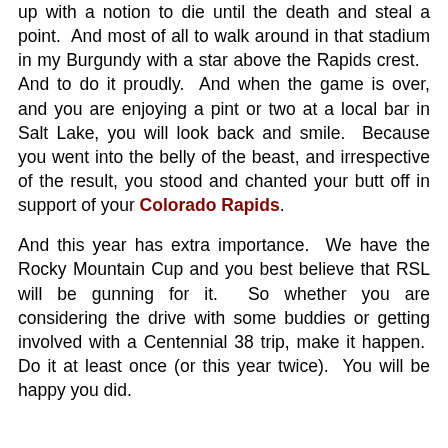up with a notion to die until the death and steal a point. And most of all to walk around in that stadium in my Burgundy with a star above the Rapids crest. And to do it proudly. And when the game is over, and you are enjoying a pint or two at a local bar in Salt Lake, you will look back and smile. Because you went into the belly of the beast, and irrespective of the result, you stood and chanted your butt off in support of your Colorado Rapids.
And this year has extra importance. We have the Rocky Mountain Cup and you best believe that RSL will be gunning for it. So whether you are considering the drive with some buddies or getting involved with a Centennial 38 trip, make it happen. Do it at least once (or this year twice). You will be happy you did.